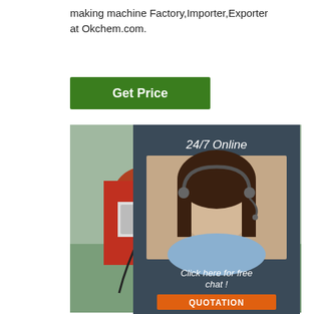making machine Factory,Importer,Exporter at Okchem.com.
[Figure (other): Green 'Get Price' button]
[Figure (photo): Industrial pipe welding/bending machine in a factory setting, red machinery with cables and orange control unit]
[Figure (infographic): 24/7 Online chat panel with a woman wearing a headset, 'Click here for free chat!' text, and QUOTATION button]